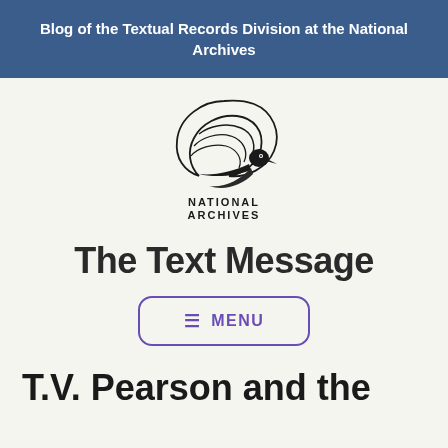Blog of the Textual Records Division at the National Archives
[Figure (logo): National Archives eagle logo with wave, text NATIONAL ARCHIVES below]
The Text Message
☰ MENU
T.V. Pearson and the